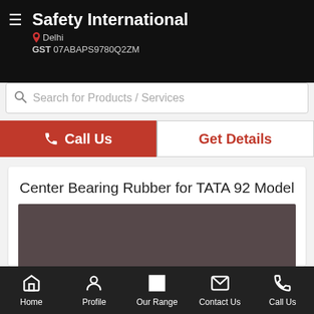Safety International | Delhi | GST 07ABAPS9780Q2ZM
Search for Products / Services
Call Us | Get Details
Center Bearing Rubber for TATA 92 Model
[Figure (photo): Product image placeholder - dark brownish-grey rectangle for Center Bearing Rubber for TATA 92 Model]
Home | Profile | Our Range | Contact Us | Call Us